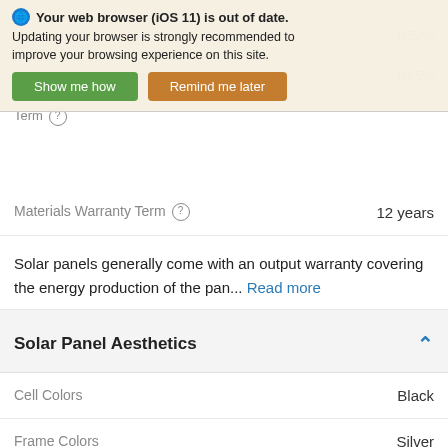[Figure (screenshot): Browser warning banner: 'Your web browser (iOS 11) is out of date. Updating your browser is strongly recommended to improve your browsing experience on this site.' with Show me how (green) and Remind me later (orange) buttons]
| Property | Value |
| --- | --- |
| Materials Warranty Term (?) | 12 years |
| Cell Colors | Black |
| Frame Colors | Silver |
| Backsheet Colors | Transparent |
Solar panels generally come with an output warranty covering the energy production of the pan... Read more
Solar Panel Aesthetics
Solar panels typically have black or blue cells, white, silver, or black backsheets, and silver or bl... Read more